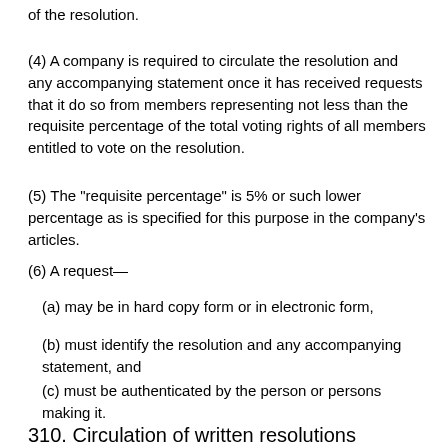of the resolution.
(4) A company is required to circulate the resolution and any accompanying statement once it has received requests that it do so from members representing not less than the requisite percentage of the total voting rights of all members entitled to vote on the resolution.
(5) The "requisite percentage" is 5% or such lower percentage as is specified for this purpose in the company's articles.
(6) A request—
(a) may be in hard copy form or in electronic form,
(b) must identify the resolution and any accompanying statement, and
(c) must be authenticated by the person or persons making it.
310. Circulation of written resolutions proposed